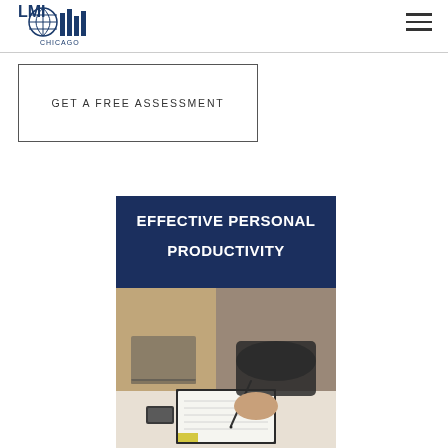LMI Chicago
GET A FREE ASSESSMENT
[Figure (illustration): Promotional banner image with dark navy blue background showing text 'EFFECTIVE PERSONAL PRODUCTIVITY' in white bold letters at top, followed by a photograph of a professional person writing in a notebook with a laptop visible in the background.]